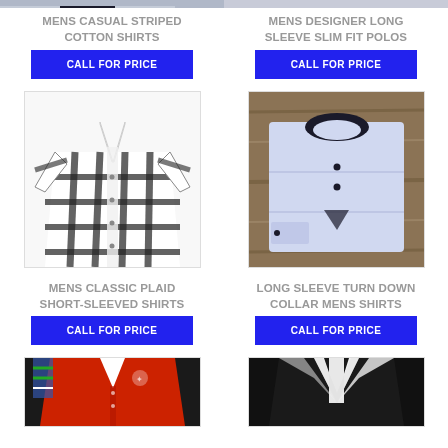[Figure (photo): Partial top of first product image, light blue shirt visible at top]
[Figure (photo): Partial top of second product image, light blue folded shirt visible at top]
MENS CASUAL STRIPED COTTON SHIRTS
CALL FOR PRICE
MENS DESIGNER LONG SLEEVE SLIM FIT POLOS
CALL FOR PRICE
[Figure (photo): Black and white plaid short-sleeved button-up shirt on white background]
[Figure (photo): Light purple folded long sleeve shirt with dark buttons on wooden background]
MENS CLASSIC PLAID SHORT-SLEEVED SHIRTS
CALL FOR PRICE
LONG SLEEVE TURN DOWN COLLAR MENS SHIRTS
CALL FOR PRICE
[Figure (photo): Red polo shirt with plaid accents, partial view at bottom]
[Figure (photo): Black and white formal shirt, partial view at bottom]